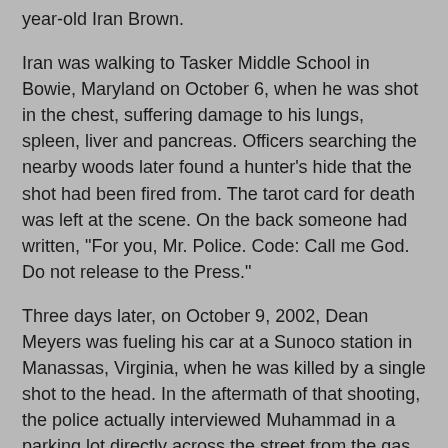year-old Iran Brown.
Iran was walking to Tasker Middle School in Bowie, Maryland on October 6, when he was shot in the chest, suffering damage to his lungs, spleen, liver and pancreas. Officers searching the nearby woods later found a hunter’s hide that the shot had been fired from. The tarot card for death was left at the scene. On the back someone had written, “For you, Mr. Police. Code: Call me God. Do not release to the Press.”
Three days later, on October 9, 2002, Dean Meyers was fueling his car at a Sunoco station in Manassas, Virginia, when he was killed by a single shot to the head. In the aftermath of that shooting, the police actually interviewed Muhammad in a parking lot directly across the street from the gas station. However, they had no reason to detain him.
On October 11, 2002, Muhammad carried out another gas station attack, this time killing 53-year-old Kenneth Bridges with a bullet to the chest while he stood filling his car at an Exxon in Massaponax, Virginia. A Caprice was noted close